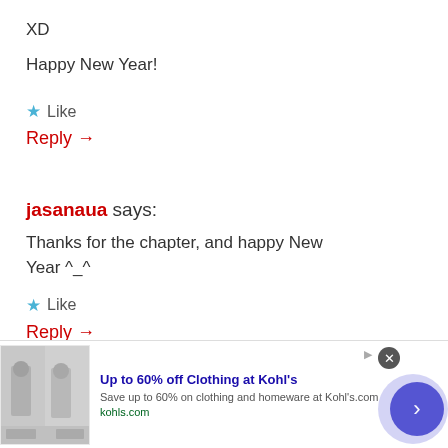XD
Happy New Year!
Like
Reply →
jasanaua says:
Thanks for the chapter, and happy New Year ^_^
Like
Reply →
[Figure (other): Advertisement banner: Up to 60% off Clothing at Kohl's. Save up to 60% on clothing and homeware at Kohl's.com. kohls.com]